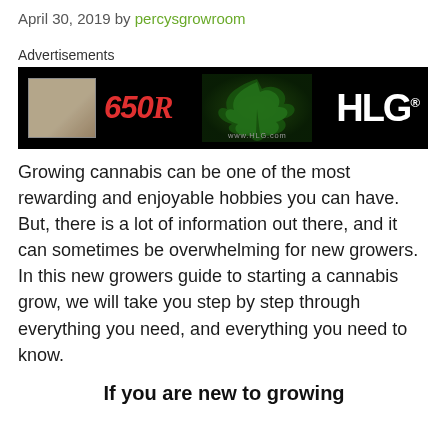April 30, 2019 by percysgrowroom
Advertisements
[Figure (photo): HLG 650R advertisement banner on black background showing product and HLG logo with www.HLG.com URL]
Growing cannabis can be one of the most rewarding and enjoyable hobbies you can have. But, there is a lot of information out there, and it can sometimes be overwhelming for new growers. In this new growers guide to starting a cannabis grow, we will take you step by step through everything you need, and everything you need to know.
If you are new to growing